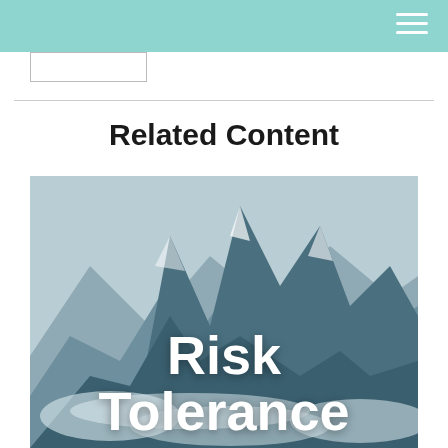Related Content
[Figure (photo): Mountain peaks with snow and clouds, with 'Risk Tolerance' text overlay in bold white font]